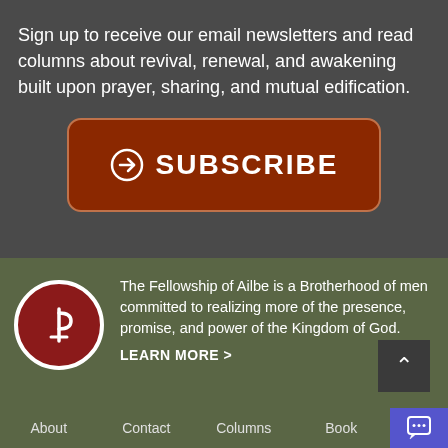Sign up to receive our email newsletters and read columns about revival, renewal, and awakening built upon prayer, sharing, and mutual edification.
[Figure (other): Brown rounded rectangle button with a circled right-arrow icon and the text SUBSCRIBE in white capital letters]
[Figure (logo): Circular red logo with a white stylized P or anchor symbol, bordered in white, for The Fellowship of Ailbe]
The Fellowship of Ailbe is a Brotherhood of men committed to realizing more of the presence, promise, and power of the Kingdom of God.
LEARN MORE >
About   Contact   Columns   Book